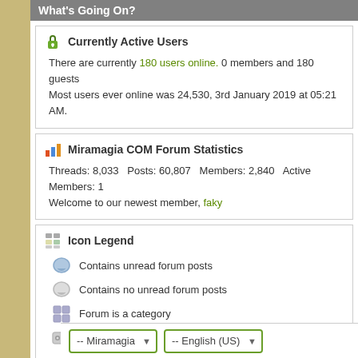What's Going On?
Currently Active Users
There are currently 180 users online. 0 members and 180 guests
Most users ever online was 24,530, 3rd January 2019 at 05:21 AM.
Miramagia COM Forum Statistics
Threads: 8,033  Posts: 60,807  Members: 2,840  Active Members: 1
Welcome to our newest member, faky
Icon Legend
Contains unread forum posts
Contains no unread forum posts
Forum is a category
Forum is a Link
-- Miramagia  -- English (US)